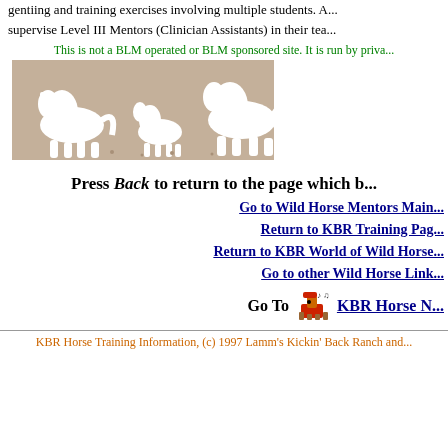gentiing and training exercises involving multiple students. A... supervise Level III Mentors (Clinician Assistants) in their tea...
This is not a BLM operated or BLM sponsored site. It is run by priva...
[Figure (illustration): Decorative banner image showing white horse silhouettes on a tan/brown background]
Press Back to return to the page which b...
Go to Wild Horse Mentors Main...
Return to KBR Training Pag...
Return to KBR World of Wild Horse...
Go to other Wild Horse Link...
Go To [horse icon] KBR Horse N...
KBR Horse Training Information, (c) 1997 Lamm's Kickin' Back Ranch and...